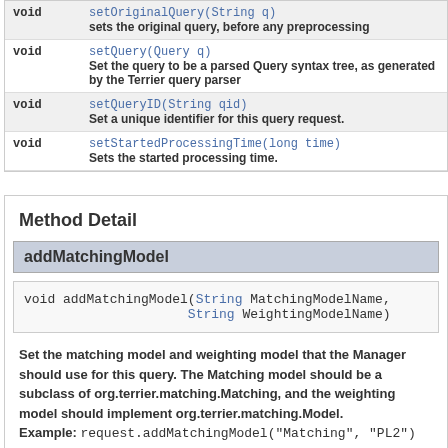| Return Type | Method and Description |
| --- | --- |
| void | setOriginalQuery(String q)
sets the original query, before any preprocessing |
| void | setQuery(Query q)
Set the query to be a parsed Query syntax tree, as generated by the Terrier query parser |
| void | setQueryID(String qid)
Set a unique identifier for this query request. |
| void | setStartedProcessingTime(long time)
Sets the started processing time. |
Method Detail
addMatchingModel
void addMatchingModel(String MatchingModelName,
                     String WeightingModelName)
Set the matching model and weighting model that the Manager should use for this query. The Matching model should be a subclass of org.terrier.matching.Matching, and the weighting model should implement org.terrier.matching.Model. Example: request.addMatchingModel("Matching", "PL2")
Parameters: